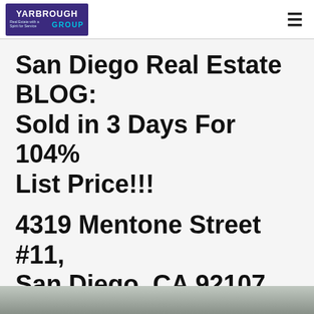YARBROUGH GROUP — Real Estate with a Spirit for Service
San Diego Real Estate BLOG: Sold in 3 Days For 104% List Price!!!
4319 Mentone Street #11, San Diego, CA 92107
[Figure (photo): Partial photo strip at bottom of page showing a property or interior scene]